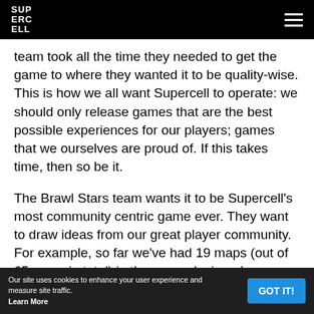SUPERCELL
team took all the time they needed to get the game to where they wanted it to be quality-wise. This is how we all want Supercell to operate: we should only release games that are the best possible experiences for our players; games that we ourselves are proud of. If this takes time, then so be it.
The Brawl Stars team wants it to be Supercell's most community centric game ever. They want to draw ideas from our great player community. For example, so far we've had 19 maps (out of 65 maps in total) in the game designed or inspired by Brawl community members like Mordeus (Thousand Lakes & Forks Out), Lewinham (Echo Chamber &
Our site uses cookies to enhance your user experience and measure site traffic.
Learn More
GOT IT!